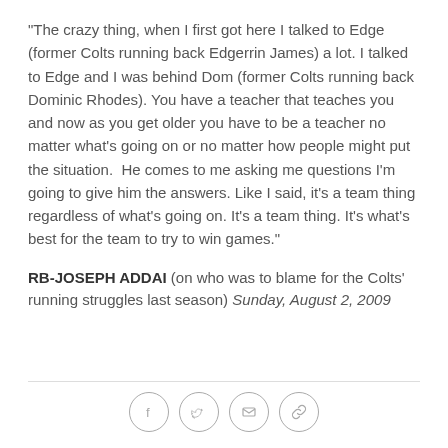"The crazy thing, when I first got here I talked to Edge (former Colts running back Edgerrin James) a lot. I talked to Edge and I was behind Dom (former Colts running back Dominic Rhodes). You have a teacher that teaches you and now as you get older you have to be a teacher no matter what's going on or no matter how people might put the situation.  He comes to me asking me questions I'm going to give him the answers. Like I said, it's a team thing regardless of what's going on. It's a team thing. It's what's best for the team to try to win games."
RB-JOSEPH ADDAI (on who was to blame for the Colts' running struggles last season) Sunday, August 2, 2009
[Figure (infographic): Four social sharing icon circles: Facebook (f), Twitter (bird), Email (envelope), Link/chain icon]